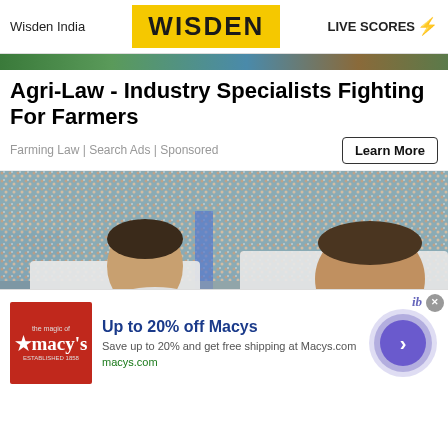Wisden India | WISDEN | LIVE SCORES
Agri-Law - Industry Specialists Fighting For Farmers
Farming Law | Search Ads | Sponsored
[Figure (photo): Two England cricket players in white jerseys standing in front of a crowd at a cricket ground, looking serious]
[Figure (infographic): Macy's advertisement overlay: Up to 20% off Macys - Save up to 20% and get free shipping at Macys.com - macys.com]